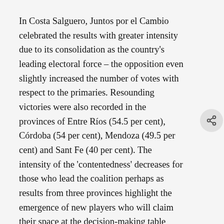In Costa Salguero, Juntos por el Cambio celebrated the results with greater intensity due to its consolidation as the country's leading electoral force – the opposition even slightly increased the number of votes with respect to the primaries. Resounding victories were also recorded in the provinces of Entre Ríos (54.5 per cent), Córdoba (54 per cent), Mendoza (49.5 per cent) and Sant Fe (40 per cent). The intensity of the 'contentedness' decreases for those who lead the coalition perhaps as results from three provinces highlight the emergence of new players who will claim their space at the decision-making table (Rogelio Frigerio, Carolina Losada, the rustproof